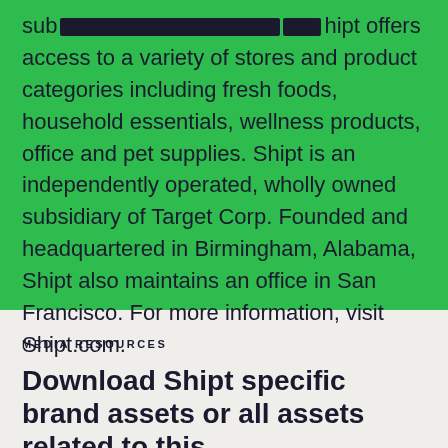sub[redacted] Shipt offers access to a variety of stores and product categories including fresh foods, household essentials, wellness products, office and pet supplies. Shipt is an independently operated, wholly owned subsidiary of Target Corp. Founded and headquartered in Birmingham, Alabama, Shipt also maintains an office in San Francisco. For more information, visit Shipt.com.
MEDIA RESOURCES
Download Shipt specific brand assets or all assets related to this